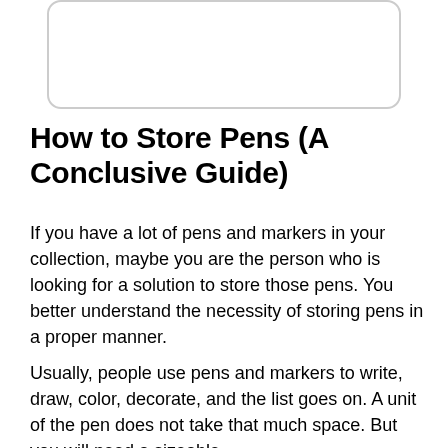[Figure (other): A white rectangular box with rounded corners and a light gray border, representing an image placeholder area.]
How to Store Pens (A Conclusive Guide)
If you have a lot of pens and markers in your collection, maybe you are the person who is looking for a solution to store those pens. You better understand the necessity of storing pens in a proper manner.
Usually, people use pens and markers to write, draw, color, decorate, and the list goes on. A unit of the pen does not take that much space. But you will need a sizeable